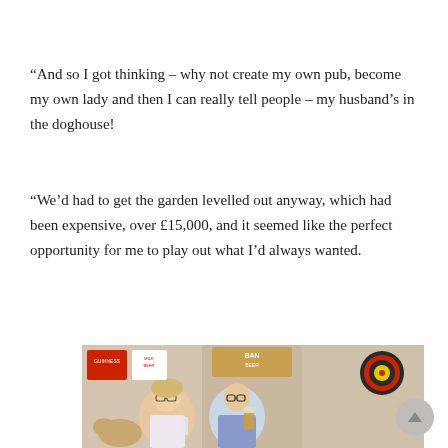“And so I got thinking – why not create my own pub, become my own lady and then I can really tell people – my husband’s in the doghouse!
“We’d had to get the garden levelled out anyway, which had been expensive, over £15,000, and it seemed like the perfect opportunity for me to play out what I’d always wanted.
[Figure (photo): A couple seated in what appears to be a home pub decorated with vintage beer signs, posters, and a dartboard. A woman with blonde hair and glasses is on the left; a man with glasses is on the right holding a beer glass. A dog is visible on the left side.]